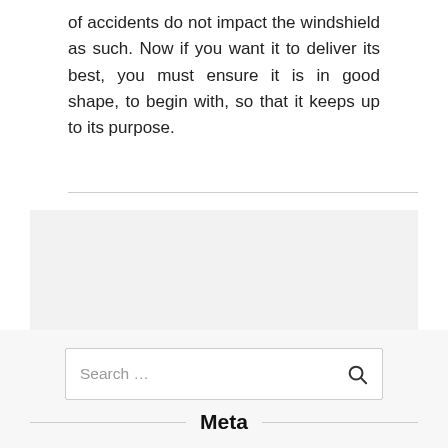of accidents do not impact the windshield as such. Now if you want it to deliver its best, you must ensure it is in good shape, to begin with, so that it keeps up to its purpose.
[Figure (other): Gray advertisement placeholder box]
[Figure (other): Search bar with placeholder text 'Search ...' and a search icon on the right]
Meta